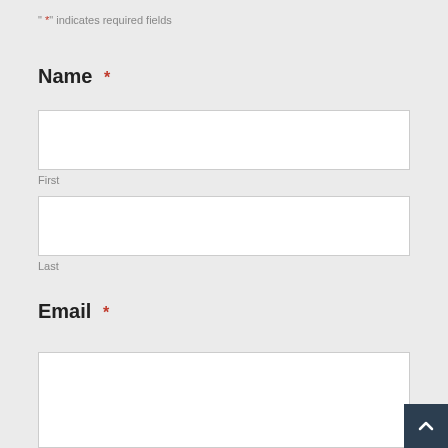" *" indicates required fields
Name *
[Figure (other): First name input text field (empty)]
First
[Figure (other): Last name input text field (empty)]
Last
Email *
[Figure (other): Email input text field (empty)]